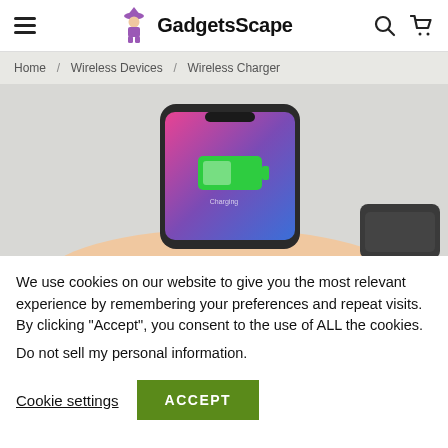GadgetsScape
Home / Wireless Devices / Wireless Charger
[Figure (photo): A hand holding a smartphone displaying a green battery charging icon, placed on or near a wireless charger pad.]
We use cookies on our website to give you the most relevant experience by remembering your preferences and repeat visits. By clicking “Accept”, you consent to the use of ALL the cookies.
Do not sell my personal information.
Cookie settings
ACCEPT